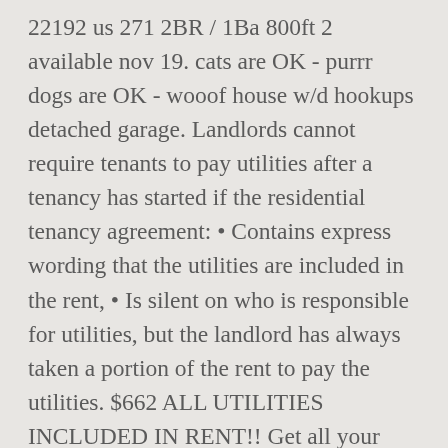22192 us 271 2BR / 1Ba 800ft 2 available nov 19. cats are OK - purrr dogs are OK - wooof house w/d hookups detached garage. Landlords cannot require tenants to pay utilities after a tenancy has started if the residential tenancy agreement: • Contains express wording that the utilities are included in the rent, • Is silent on who is responsible for utilities, but the landlord has always taken a portion of the rent to pay the utilities. $662 ALL UTILITIES INCLUDED IN RENT!! Get all your utilities included when you add the "All Inclusive" package to your rent. San Diego Apartments for Rent with Utilities Included; Find Your Next Apartments With Utilities Included. Find